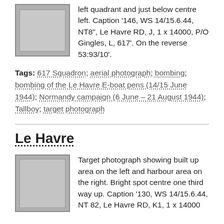[Figure (photo): Aerial target photograph, grayscale, framed with border]
left quadrant and just below centre left. Caption '146, WS 14/15.6.44, NT8", Le Havre RD, J, 1 x 14000, P/O Gingles, L, 617'. On the reverse 53:93/10'.
Tags: 617 Squadron; aerial photograph; bombing; bombing of the Le Havre E-boat pens (14/15 June 1944); Normandy campaign (6 June – 21 August 1944); Tallboy; target photograph
Le Havre
[Figure (photo): Aerial target photograph, grayscale, framed with border]
Target photograph showing built up area on the left and harbour area on the right. Bright spot centre one third way up. Caption '130, WS 14/15.6.44, NT 82, Le Havre RD, K1, 1 x 14000